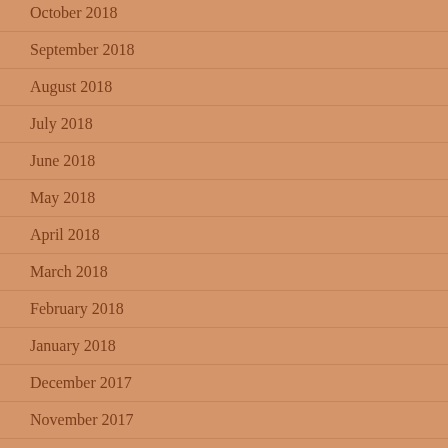October 2018
September 2018
August 2018
July 2018
June 2018
May 2018
April 2018
March 2018
February 2018
January 2018
December 2017
November 2017
October 2017
September 2017
August 2017
July 2017